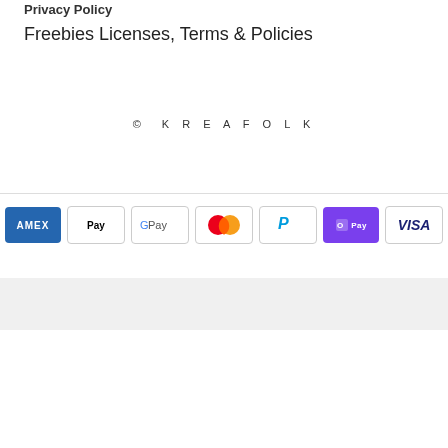Privacy Policy
Freebies Licenses, Terms & Policies
© KREAFOLK
[Figure (other): Payment method icons: American Express (AMEX), Apple Pay, Google Pay, Mastercard, PayPal, Shop Pay, Visa]